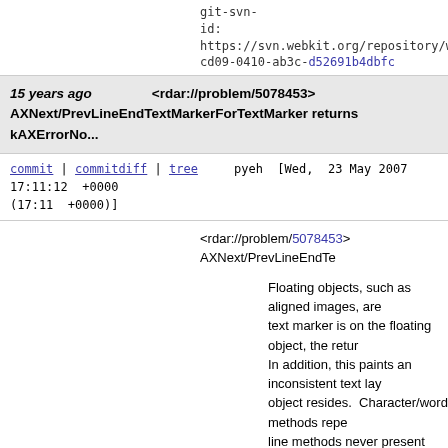git-svn-id: https://svn.webkit.org/repository/webkit/trunk@cd09-0410-ab3c-d52691b4dbfc
15 years ago   <rdar://problem/5078453> AXNext/PrevLineEndTextMarkerForTextMarker returns kAXErrorNo...
commit | commitdiff | tree   pyeh [Wed, 23 May 2007 17:11:12 +0000 (17:11 +0000)]
<rdar://problem/5078453> AXNext/PrevLineEndTextMarkerForTextMarker returns kAXErrorNo...

Floating objects, such as aligned images, are text marker is on the floating object, the retur In addition, this paints an inconsistent text lay object resides.  Character/word methods repe line methods never present floating objects a To fix this, the ax line methods will now do m when determining the line range/position. Tha to read line-by-line

* bridge/mac/WebCoreAXObject.mm:
(updateAXLineStartForVisiblePosition):
Added a helper method to adjust line start po
(-[WebCoreAXObject doAXLeftLineTextMarkerRang
        (-
[WebCoreAXObject doAXRightLineTextMarkerRa